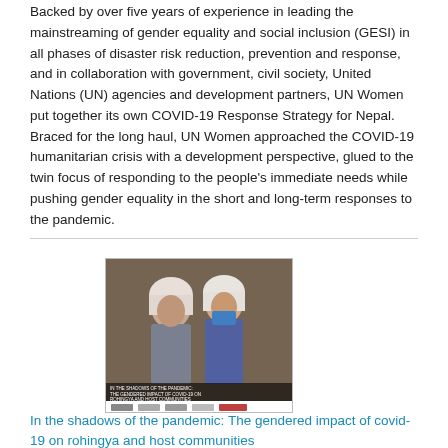Backed by over five years of experience in leading the mainstreaming of gender equality and social inclusion (GESI) in all phases of disaster risk reduction, prevention and response, and in collaboration with government, civil society, United Nations (UN) agencies and development partners, UN Women put together its own COVID-19 Response Strategy for Nepal. Braced for the long haul, UN Women approached the COVID-19 humanitarian crisis with a development perspective, glued to the twin focus of responding to the people's immediate needs while pushing gender equality in the short and long-term responses to the pandemic.
[Figure (photo): Cover image of a report showing two people wearing face masks, with text overlay and organization logos at the bottom]
In the shadows of the pandemic: The gendered impact of covid-19 on rohingya and host communities
Date: Wednesday, 14 October 2020
The impact of COVID-19 on the Rohingya and host communities